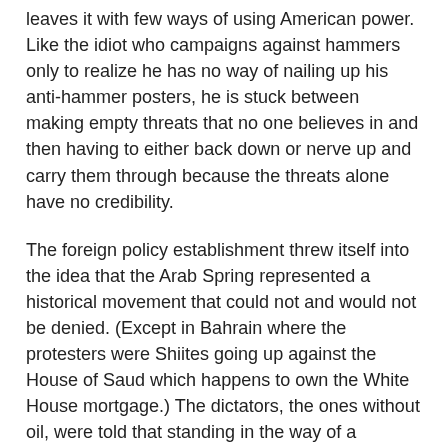leaves it with few ways of using American power. Like the idiot who campaigns against hammers only to realize he has no way of nailing up his anti-hammer posters, he is stuck between making empty threats that no one believes in and then having to either back down or nerve up and carry them through because the threats alone have no credibility.
The foreign policy establishment threw itself into the idea that the Arab Spring represented a historical movement that could not and would not be denied. (Except in Bahrain where the protesters were Shiites going up against the House of Saud which happens to own the White House mortgage.) The dictators, the ones without oil, were told that standing in the way of a historical movement of price protests hijacked by left-wing and Islamist mobs was futile. Either they would step down or the people would throw them down.
Gaddafi chose to test the force of history and won. And once it was clear that he was winning, the jets that no one thought of sending out to stop genocide anywhere in Africa were dispatched to protect that jewel of democracy, Benghazi, the heartland of the Libyan revolution. Now Assad is testing the